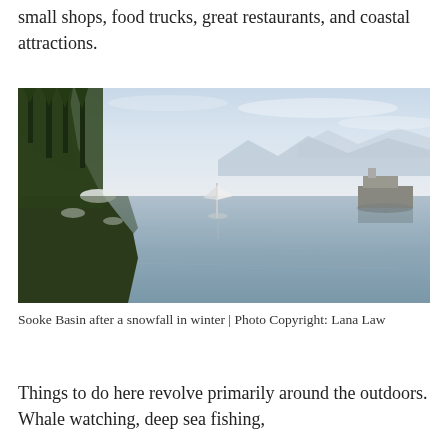small shops, food trucks, great restaurants, and coastal attractions.
[Figure (photo): Sooke Basin after a snowfall in winter — calm reflective water with forested rocky shoreline on the left, a sailboat moored in the center, and distant mountains and another vessel on the right.]
Sooke Basin after a snowfall in winter | Photo Copyright: Lana Law
Things to do here revolve primarily around the outdoors. Whale watching, deep sea fishing,